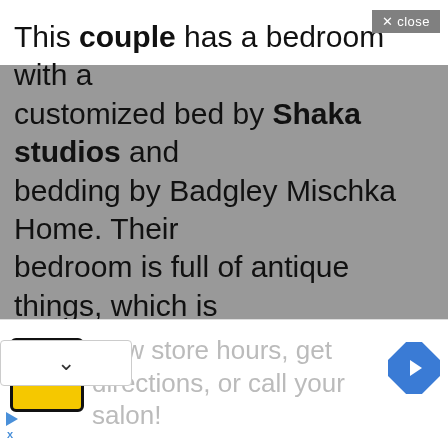This couple has a bedroom with a customized bed by Shaka studios and bedding by Badgley Mischka Home. Their bedroom is full of antique things, which is giving the room a modern look. The right wall of the room is entirely a mirror. Their floor is made up of wood, which looks very glossy. Interestingly their room's wall is not painted or wallpapered but it is simply
[Figure (screenshot): Advertisement banner with HC logo (yellow background, black border), gray text 'view store hours, get directions, or call your salon!', and a blue diamond navigation arrow icon on the right.]